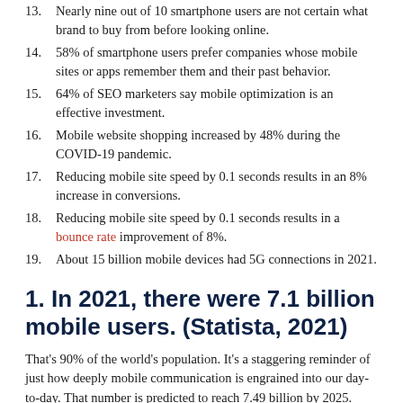13. Nearly nine out of 10 smartphone users are not certain what brand to buy from before looking online.
14. 58% of smartphone users prefer companies whose mobile sites or apps remember them and their past behavior.
15. 64% of SEO marketers say mobile optimization is an effective investment.
16. Mobile website shopping increased by 48% during the COVID-19 pandemic.
17. Reducing mobile site speed by 0.1 seconds results in an 8% increase in conversions.
18. Reducing mobile site speed by 0.1 seconds results in a bounce rate improvement of 8%.
19. About 15 billion mobile devices had 5G connections in 2021.
1. In 2021, there were 7.1 billion mobile users. (Statista, 2021)
That's 90% of the world's population. It's a staggering reminder of just how deeply mobile communication is engrained into our day-to-day. That number is predicted to reach 7.49 billion by 2025.